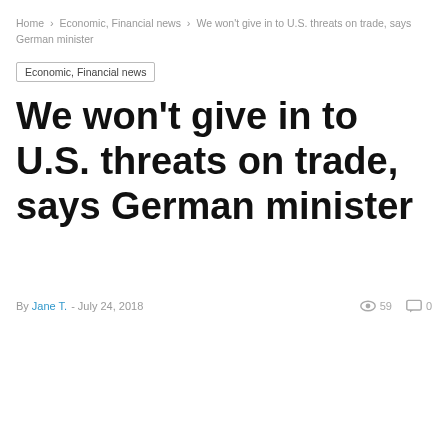Home > Economic, Financial news > We won't give in to U.S. threats on trade, says German minister
Economic, Financial news
We won't give in to U.S. threats on trade, says German minister
By Jane T. - July 24, 2018  59  0